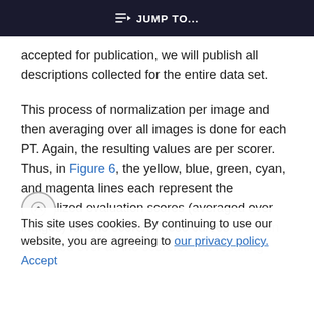JUMP TO...
accepted for publication, we will publish all descriptions collected for the entire data set.
This process of normalization per image and then averaging over all images is done for each PT. Again, the resulting values are per scorer. Thus, in Figure 6, the yellow, blue, green, cyan, and magenta lines each represent the normalized evaluation scores (averaged over images) for one scorer. These curves are then averaged over all the scorers. The resulting
This site uses cookies. By continuing to use our website, you are agreeing to our privacy policy. Accept